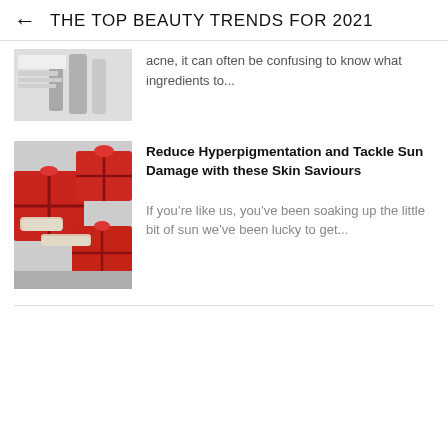THE TOP BEAUTY TRENDS FOR 2021
[Figure (photo): Partial view of skincare product packaging, light background, truncated at top of page]
acne, it can often be confusing to know what ingredients to...
[Figure (photo): Red gift boxes with ribbons and cream/white beauty product tubes arranged on a grey surface]
Reduce Hyperpigmentation and Tackle Sun Damage with these Skin Saviours
If you’re like us, you’ve been soaking up the little bit of sun we’ve been lucky to get...